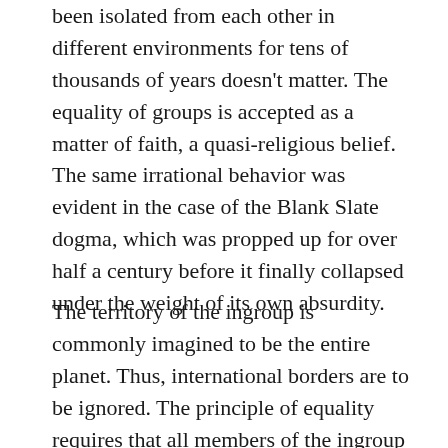been isolated from each other in different environments for tens of thousands of years doesn't matter. The equality of groups is accepted as a matter of faith, a quasi-religious belief. The same irrational behavior was evident in the case of the Blank Slate dogma, which was propped up for over half a century before it finally collapsed under the weight of its own absurdity.
The territory of the ingroup is commonly imagined to be the entire planet. Thus, international borders are to be ignored. The principle of equality requires that all members of the ingroup be allowed to come and go as they please within the planetary territory. The needs of an individual are